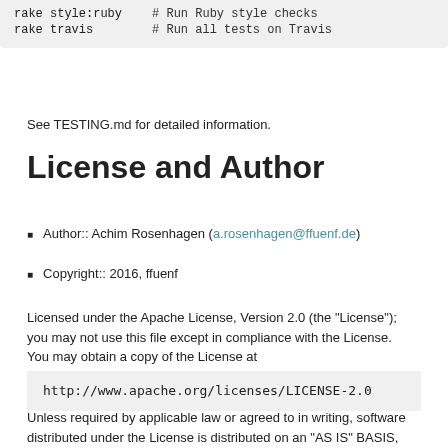rake style:ruby    # Run Ruby style checks
rake travis        # Run all tests on Travis
See TESTING.md for detailed information.
License and Author
Author:: Achim Rosenhagen (a.rosenhagen@ffuenf.de)
Copyright:: 2016, ffuenf
Licensed under the Apache License, Version 2.0 (the "License"); you may not use this file except in compliance with the License. You may obtain a copy of the License at
http://www.apache.org/licenses/LICENSE-2.0
Unless required by applicable law or agreed to in writing, software distributed under the License is distributed on an "AS IS" BASIS, WITHOUT WARRANTIES OR CONDITIONS OF ANY KIND, either express or implied.